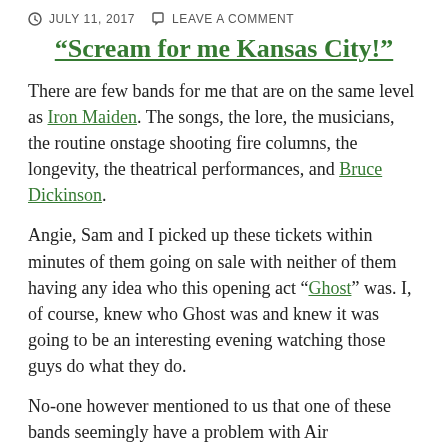JULY 11, 2017   LEAVE A COMMENT
“Scream for me Kansas City!”
There are few bands for me that are on the same level as Iron Maiden. The songs, the lore, the musicians, the routine onstage shooting fire columns, the longevity, the theatrical performances, and Bruce Dickinson.
Angie, Sam and I picked up these tickets within minutes of them going on sale with neither of them having any idea who this opening act “Ghost” was. I, of course, knew who Ghost was and knew it was going to be an interesting evening watching those guys do what they do.
No-one however mentioned to us that one of these bands seemingly have a problem with Air Conditioning. They requested the Sprint Center be no cooler than 83°. Sure